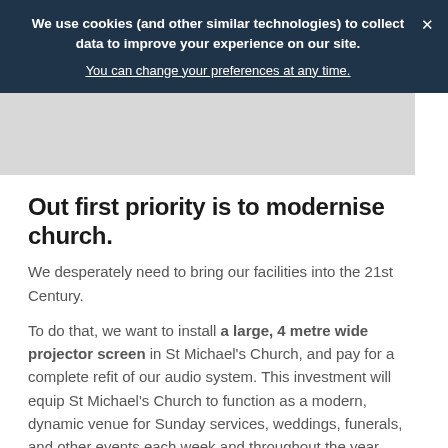We use cookies (and other similar technologies) to collect data to improve your experience on our site. You can change your preferences at any time.
[Figure (photo): Grey placeholder image area]
Out first priority is to modernise church.
We desperately need to bring our facilities into the 21st Century.
To do that, we want to install a large, 4 metre wide projector screen in St Michael's Church, and pay for a complete refit of our audio system. This investment will equip St Michael's Church to function as a modern, dynamic venue for Sunday services, weddings, funerals, and other events each week and throughout the year.
A new audio-visual system will transform what we can offer as a church.